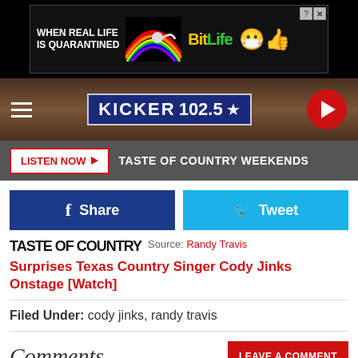[Figure (screenshot): Advertisement banner for BitLife app with text 'WHEN REAL LIFE IS QUARANTINED' and rainbow graphic, showing BitLife logo and emoji characters]
[Figure (screenshot): Kicker 102.5 radio station navigation bar with hamburger menu, logo, and play button]
LISTEN NOW ▶  TASTE OF COUNTRY WEEKENDS
[Figure (screenshot): Facebook Share and Twitter Tweet buttons]
TASTE OF COUNTRY  Source: Randy Travis Surprises Texas Country Singer Cody Jinks Onstage [Watch]
Filed Under: cody jinks, randy travis
Comments
YOU MAY LIKE   SPONSORED LINKS